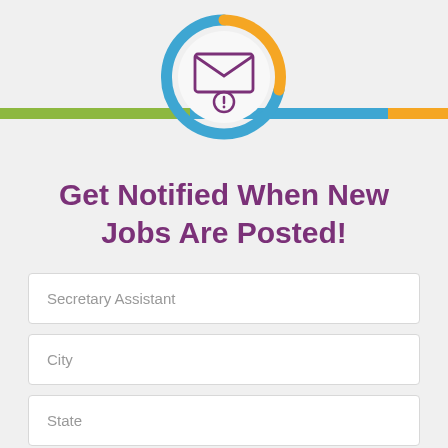[Figure (illustration): Email notification icon inside a white circle with a blue and orange arc ring, overlaid on a horizontal striped bar (green, blue, orange)]
Get Notified When New Jobs Are Posted!
Secretary Assistant
City
State
Your Email Address